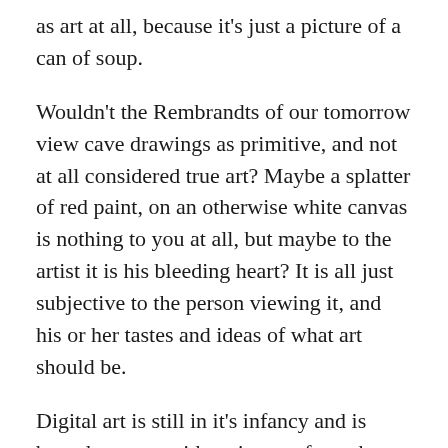as art at all, because it's just a picture of a can of soup.
Wouldn't the Rembrandts of our tomorrow view cave drawings as primitive, and not at all considered true art? Maybe a splatter of red paint, on an otherwise white canvas is nothing to you at all, but maybe to the artist it is his bleeding heart? It is all just subjective to the person viewing it, and his or her tastes and ideas of what art should be.
Digital art is still in it's infancy and is bound to meet with resistance from those accustomed to creating their works of art the traditional way. Society is still learning to receive their information in digital forms. But everything around us is quickly turning digital, so it is no surprise it would also impact on the